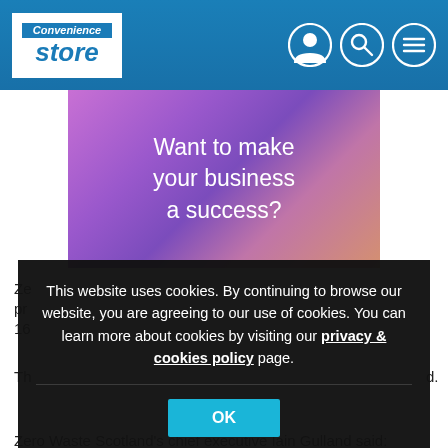Convenience Store
[Figure (illustration): Advertisement banner with gradient purple/pink background reading 'Want to make your business a success?']
This website uses cookies. By continuing to browse our website, you are agreeing to our use of cookies. You can learn more about cookies by visiting our privacy & cookies policy page.
Zero Waste Scotland's chief executive Iain Gulland said: